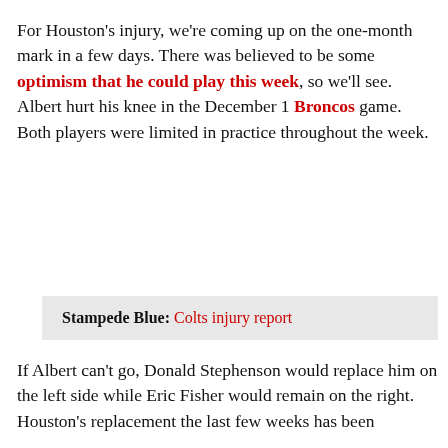For Houston's injury, we're coming up on the one-month mark in a few days. There was believed to be some optimism that he could play this week, so we'll see. Albert hurt his knee in the December 1 Broncos game. Both players were limited in practice throughout the week.
Stampede Blue: Colts injury report
If Albert can't go, Donald Stephenson would replace him on the left side while Eric Fisher would remain on the right. Houston's replacement the last few weeks has been